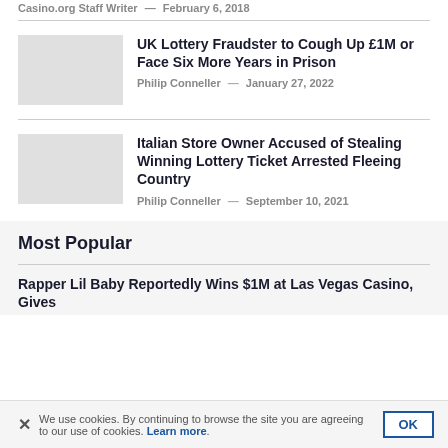Casino.org Staff Writer — February 6, 2018
UK Lottery Fraudster to Cough Up £1M or Face Six More Years in Prison
Philip Conneller — January 27, 2022
Italian Store Owner Accused of Stealing Winning Lottery Ticket Arrested Fleeing Country
Philip Conneller — September 10, 2021
Most Popular
Rapper Lil Baby Reportedly Wins $1M at Las Vegas Casino, Gives
We use cookies. By continuing to browse the site you are agreeing to our use of cookies. Learn more.